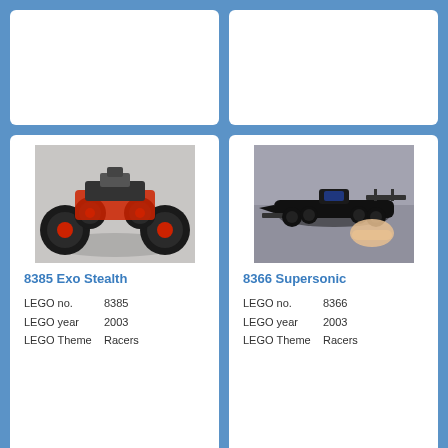[Figure (photo): Top-left card, mostly blank white]
[Figure (photo): Top-right card, mostly blank white]
[Figure (photo): LEGO 8385 Exo Stealth monster truck with large red wheels, photographed from above]
8385 Exo Stealth
LEGO no.    8385
LEGO year   2003
LEGO Theme  Racers
[Figure (photo): LEGO 8366 Supersonic Formula 1 style racing car, dark colored, held by hand, motion blur background]
8366 Supersonic
LEGO no.    8366
LEGO year   2003
LEGO Theme  Racers
[Figure (photo): LEGO Racers box art showing motorcycle racers on a track, red and green riders]
[Figure (photo): LEGO Racers instruction booklet showing numbered build steps with small blue car pieces]